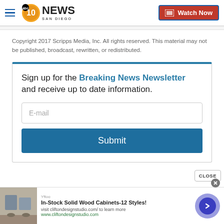ABC 10 News San Diego | Watch Now
Copyright 2017 Scripps Media, Inc. All rights reserved. This material may not be published, broadcast, rewritten, or redistributed.
Sign up for the Breaking News Newsletter and receive up to date information. E-mail Submit
CLOSE
[Figure (infographic): Advertisement banner: In-Stock Solid Wood Cabinets-12 Styles! visit cliftondesignstudio.com/ to learn more www.cliftondesignstudio.com]